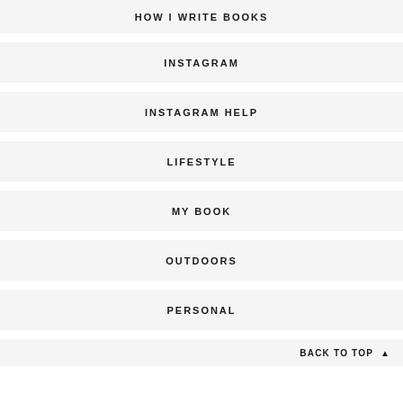HOW I WRITE BOOKS
INSTAGRAM
INSTAGRAM HELP
LIFESTYLE
MY BOOK
OUTDOORS
PERSONAL
BACK TO TOP ▲